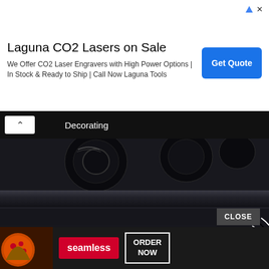[Figure (screenshot): Ad banner for Laguna CO2 Lasers on Sale with blue Get Quote button and ad icons top right]
Laguna CO2 Lasers on Sale
We Offer CO2 Laser Engravers with High Power Options | In Stock & Ready to Ship | Call Now Laguna Tools
[Figure (screenshot): Dark navigation bar with back arrow button and 'Decorating' title text]
[Figure (photo): Close-up photo of dark black automotive or appliance surface with chrome/metallic ring or coil element and reflective glossy finish]
[Figure (screenshot): Bottom advertisement banner showing pizza image on left, Seamless logo in red center, ORDER NOW button on right with CLOSE button above]